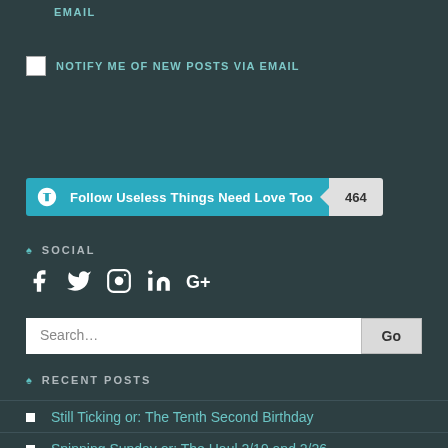EMAIL
NOTIFY ME OF NEW POSTS VIA EMAIL
[Figure (other): Follow Useless Things Need Love Too button with WordPress logo and follower count badge showing 464]
SOCIAL
[Figure (other): Social media icons: Facebook, Twitter, Instagram, LinkedIn, Google+]
Search...
RECENT POSTS
Still Ticking or: The Tenth Second Birthday
Spinning Sunday or: The Haul 2/19 and 2/26